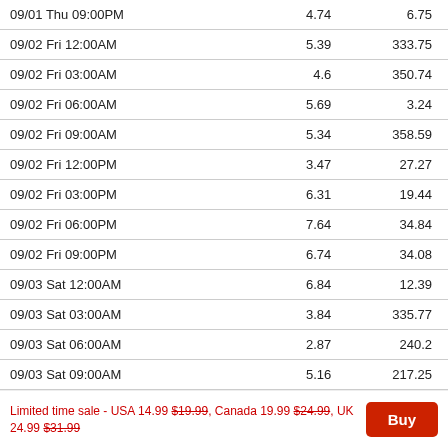| Date/Time | Col2 | Col3 |
| --- | --- | --- |
| 09/01 Thu 09:00PM | 4.74 | 6.75 |
| 09/02 Fri 12:00AM | 5.39 | 333.75 |
| 09/02 Fri 03:00AM | 4.6 | 350.74 |
| 09/02 Fri 06:00AM | 5.69 | 3.24 |
| 09/02 Fri 09:00AM | 5.34 | 358.59 |
| 09/02 Fri 12:00PM | 3.47 | 27.27 |
| 09/02 Fri 03:00PM | 6.31 | 19.44 |
| 09/02 Fri 06:00PM | 7.64 | 34.84 |
| 09/02 Fri 09:00PM | 6.74 | 34.08 |
| 09/03 Sat 12:00AM | 6.84 | 12.39 |
| 09/03 Sat 03:00AM | 3.84 | 335.77 |
| 09/03 Sat 06:00AM | 2.87 | 240.2 |
| 09/03 Sat 09:00AM | 5.16 | 217.25 |
| 09/03 Sat 12:00PM | 3.5 | 303.4 |
Limited time sale - USA 14.99 $19.99, Canada 19.99 $24.99, UK 24.99 $31.99